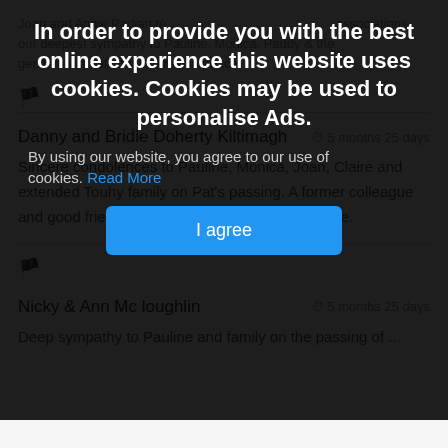In order to provide you with the best online experience this website uses cookies. Cookies may be used to personalise Ads.
By using our website, you agree to our use of cookies. Read More
I agree
Joan and Annie Padian to ... deepest sympathy ... Paddy ... a true gentleman to all, may he rest in peace.
Danny and Bridie Doherty Kiltimagh   5 months 25 days
Sincere condolences to Pauline, Monica, Joan, Claire and extended Touhy family on Pat's passing. A former colleague and good friend. May his gentle soul rest in peace.
Nicky & Ann Mc loughlin   5 months 25 days
Deep sympathy to Pauline and family on the passing of ...